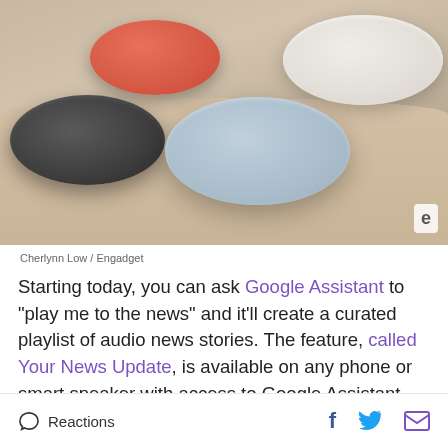[Figure (photo): Four Google Home Mini smart speakers on a wooden table surface — dark charcoal (bottom left), coral/red (top left), light blue (center), and white/chalk (top right). Engadget watermark in bottom-right corner.]
Cherlynn Low / Engadget
Starting today, you can ask Google Assistant to "play me to the news" and it'll create a curated playlist of audio news stories. The feature, called Your News Update, is available on any phone or smart speaker with access to Google Assistant. Each update will start with a couple of short, general interest news
Reactions